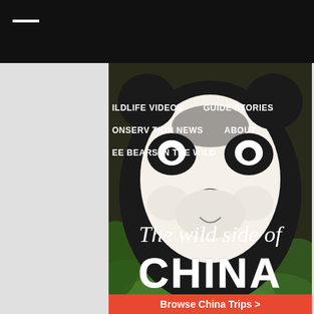Navigation bar with menu icon
[Figure (photo): Close-up photo of a giant panda bear face with black and white fur, set against green leaves background. Overlaid with navigation menu items: WILDLIFE VIDEOS, GUIDE STORIES, CONSERVATION NEWS, ABOUT, EE BEARS IN THE WILD. Text overlay reads 'The wild side of CHINA'. Red button at bottom reads 'Browse China Trips >']
WILDLIFE VIDEOS   GUIDE STORIES
CONSERVATION NEWS   ABOUT
EE BEARS IN THE WILD
The wild side of CHINA
Browse China Trips >